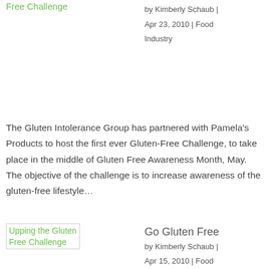Free Challenge
by Kimberly Schaub | Apr 23, 2010 | Food Industry
The Gluten Intolerance Group has partnered with Pamela's Products to host the first ever Gluten-Free Challenge, to take place in the middle of Gluten Free Awareness Month, May. The objective of the challenge is to increase awareness of the gluten-free lifestyle…
[Figure (other): Thumbnail image placeholder for 'Upping the Gluten Free Challenge' article]
Go Gluten Free
by Kimberly Schaub | Apr 15, 2010 | Food